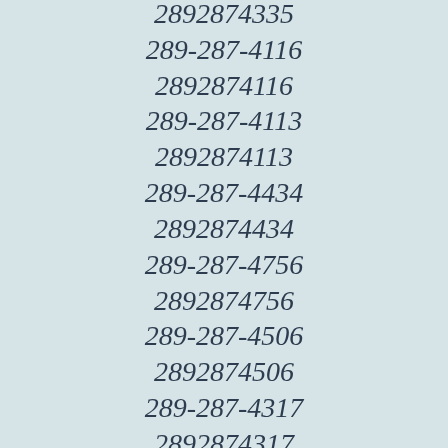2892874335
289-287-4116
2892874116
289-287-4113
2892874113
289-287-4434
2892874434
289-287-4756
2892874756
289-287-4506
2892874506
289-287-4317
2892874317
289-287-4335
2892874335
289-287-4378